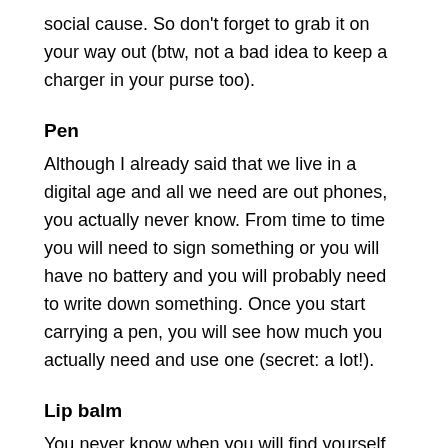social cause. So don't forget to grab it on your way out (btw, not a bad idea to keep a charger in your purse too).
Pen
Although I already said that we live in a digital age and all we need are out phones, you actually never know. From time to time you will need to sign something or you will have no battery and you will probably need to write down something. Once you start carrying a pen, you will see how much you actually need and use one (secret: a lot!).
Lip balm
You never know when you will find yourself with cracked lips. And your lips should actually always be kissable.  It is an essential for every woman and actually a man too in my opinion. Hydrated lips are beautiful lips. So don't forget that!
Purse and